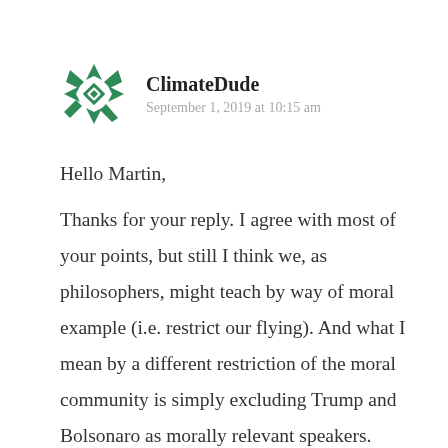[Figure (logo): Green geometric star/diamond pattern avatar icon for user ClimateDude]
ClimateDude
September 1, 2019 at 10:15 am
Hello Martin,

Thanks for your reply. I agree with most of your points, but still I think we, as philosophers, might teach by way of moral example (i.e. restrict our flying). And what I mean by a different restriction of the moral community is simply excluding Trump and Bolsonaro as morally relevant speakers. Traditionally children, 'idiots' and other 'irrational people' were excluded as morally capable autonomous speakers. Now worldwide they have